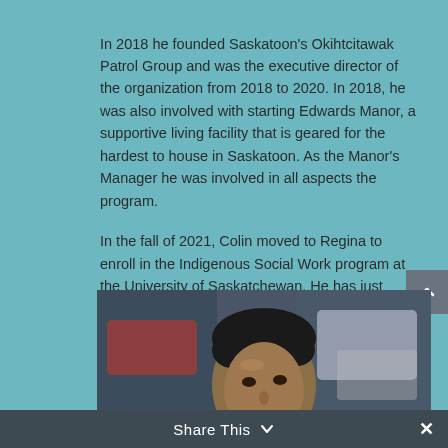In 2018 he founded Saskatoon's Okihtcitawak Patrol Group and was the executive director of the organization from 2018 to 2020. In 2018, he was also involved with starting Edwards Manor, a supportive living facility that is geared for the hardest to house in Saskatoon. As the Manor's Manager he was involved in all aspects the program.
In the fall of 2021, Colin moved to Regina to enroll in the Indigenous Social Work program at the University of Saskatchewan. He has just completed his first year of the program.
[Figure (photo): A young Indigenous man photographed from slightly above, looking upward, with dark hair, against a blurred urban street background with vehicles visible.]
Share This ∨